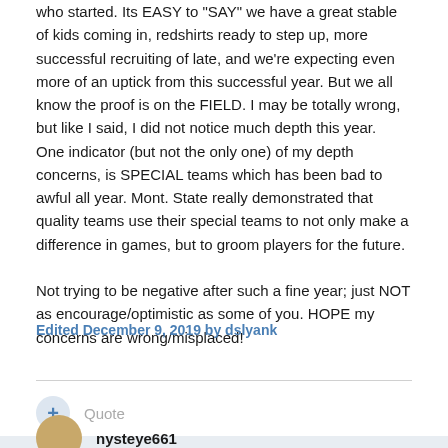who started. Its EASY to "SAY" we have a great stable of kids coming in, redshirts ready to step up, more successful recruiting of late, and we're expecting even more of an uptick from this successful year. But we all know the proof is on the FIELD. I may be totally wrong, but like I said, I did not notice much depth this year.  One indicator (but not the only one) of my depth concerns, is SPECIAL teams which has been bad to awful all year. Mont. State really demonstrated that quality teams use their special teams to not only make a difference in games, but to groom players for the future.

Not trying to be negative after such a fine year; just NOT as encourage/optimistic as some of you. HOPE my concerns are wrong/misplaced!
Edited December 9, 2019 by dslyank
Quote
nysteye661